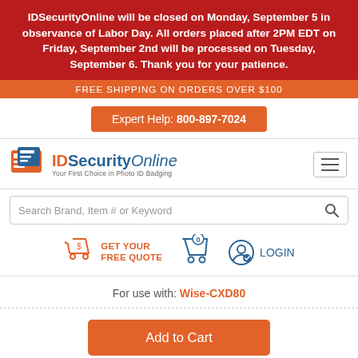IDSecurityOnline will be closed on Monday, September 5 in observance of Labor Day. All orders placed after 2PM EDT on Friday, September 2nd will be processed on Tuesday, September 6. Thank you for your patience.
FREE SHIPPING ON ORDERS OVER $100
Expert Help: 800-897-7024
[Figure (logo): IDSecurityOnline logo with text 'Your First Choice in Photo ID Badging']
Search Brand, Item # or Keyword
GET YOUR FREE QUOTE
LOGIN
For use with: Wise-CXD80
Add to Cart